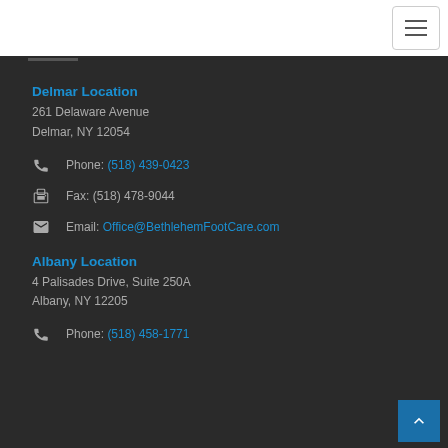Delmar Location
261 Delaware Avenue
Delmar, NY 12054
Phone: (518) 439-0423
Fax: (518) 478-9044
Email: Office@BethlehemFootCare.com
Albany Location
4 Palisades Drive, Suite 250A
Albany, NY 12205
Phone: (518) 458-1771